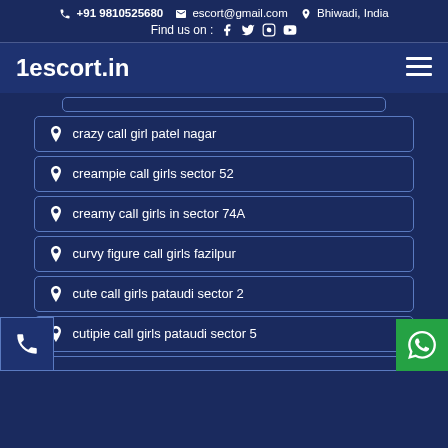+91 9810525680  escort@gmail.com  Bhiwadi, India
Find us on : f  t  o  yt
1escort.in
crazy call girl patel nagar
creampie call girls sector 52
creamy call girls in sector 74A
curvy figure call girls fazilpur
cute call girls pataudi sector 2
cutipie call girls pataudi sector 5